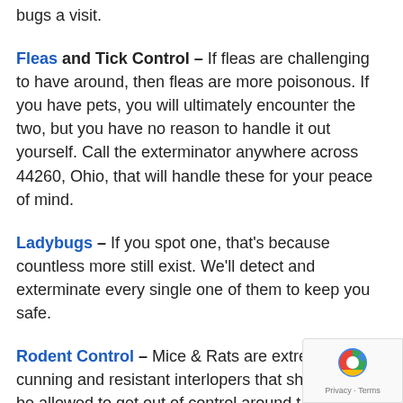bugs a visit.
Fleas and Tick Control – If fleas are challenging to have around, then fleas are more poisonous. If you have pets, you will ultimately encounter the two, but you have no reason to handle it out yourself. Call the exterminator anywhere across 44260, Ohio, that will handle these for your peace of mind.
Ladybugs – If you spot one, that's because countless more still exist. We'll detect and exterminate every single one of them to keep you safe.
Rodent Control – Mice & Rats are extremely cunning and resistant interlopers that should never be allowed to get out of control around the home or office complexes. What's the best way